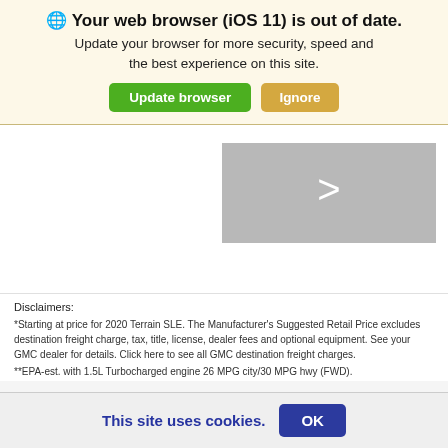Your web browser (iOS 11) is out of date.
Update your browser for more security, speed and the best experience on this site.
[Figure (screenshot): Gray carousel panel with a right arrow chevron]
Disclaimers:
*Starting at price for 2020 Terrain SLE. The Manufacturer's Suggested Retail Price excludes destination freight charge, tax, title, license, dealer fees and optional equipment. See your GMC dealer for details. Click here to see all GMC destination freight charges.
**EPA-est. with 1.5L Turbocharged engine 26 MPG city/30 MPG hwy (FWD).
This site uses cookies.